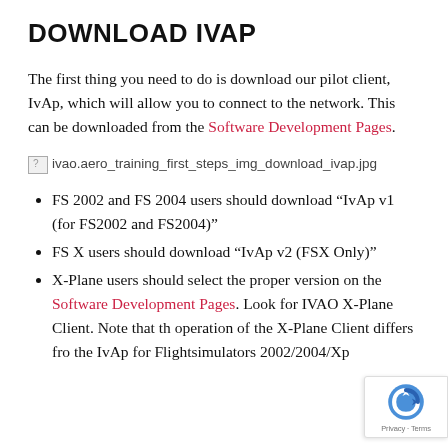DOWNLOAD IVAP
The first thing you need to do is download our pilot client, IvAp, which will allow you to connect to the network. This can be downloaded from the Software Development Pages.
[Figure (photo): Broken image placeholder for ivao.aero_training_first_steps_img_download_ivap.jpg]
FS 2002 and FS 2004 users should download “IvAp v1 (for FS2002 and FS2004)”
FS X users should download “IvAp v2 (FSX Only)”
X-Plane users should select the proper version on the Software Development Pages. Look for IVAO X-Plane Client. Note that the operation of the X-Plane Client differs from the IvAp for Flightsimulators 2002/2004/Xp